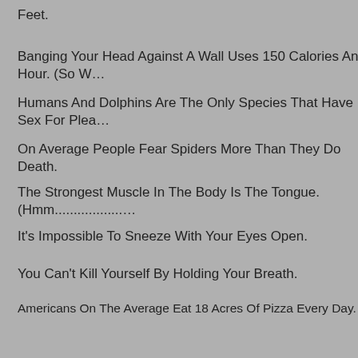Feet.
Banging Your Head Against A Wall Uses 150 Calories An Hour. (So W…
Humans And Dolphins Are The Only Species That Have Sex For Plea…
On Average People Fear Spiders More Than They Do Death.
The Strongest Muscle In The Body Is The Tongue. (Hmm..................…
It's Impossible To Sneeze With Your Eyes Open.
You Can't Kill Yourself By Holding Your Breath.
Americans On The Average Eat 18 Acres Of Pizza Every Day.
Every Time You Lick A Stamp, You're Consuming 1/10 Of A Calorie.
Did You Know That You Are More Likely To Be Killed By A Champagn… Spider?
Right-Handed People Live, On Average, Nine Years Longer Than Lef…